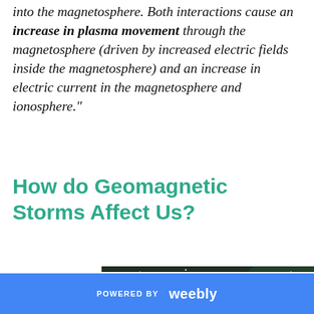into the magnetosphere. Both interactions cause an increase in plasma movement through the magnetosphere (driven by increased electric fields inside the magnetosphere) and an increase in electric current in the magnetosphere and ionosphere."
How do Geomagnetic Storms Affect Us?
[Figure (photo): Night sky photo showing aurora borealis with greenish and reddish glowing light bands against a dark starry sky]
POWERED BY weebly